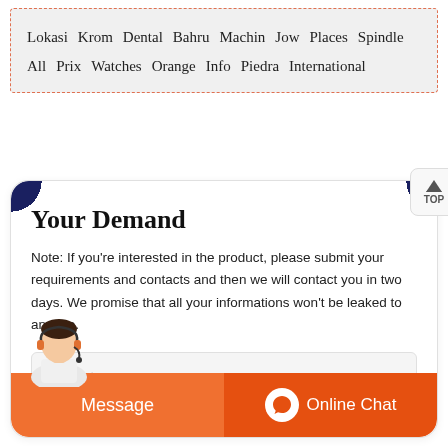Lokasi  Krom  Dental  Bahru  Machin  Jow  Places  Spindle  All  Prix  Watches  Orange  Info  Piedra  International
Your Demand
Note: If you're interested in the product, please submit your requirements and contacts and then we will contact you in two days. We promise that all your informations won't be leaked to anyone.
Productname
Message
Online Chat